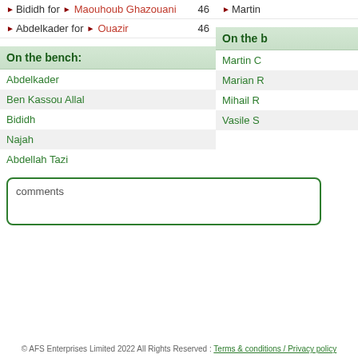Bididh for Maouhoub Ghazouani 46
Abdelkader for Ouazir 46
On the bench:
Abdelkader
Ben Kassou Allal
Bididh
Najah
Abdellah Tazi
On the b[ench:]
Martin C
Marian R
Mihail R
Vasile S
comments
© AFS Enterprises Limited 2022 All Rights Reserved : Terms & conditions / Privacy policy